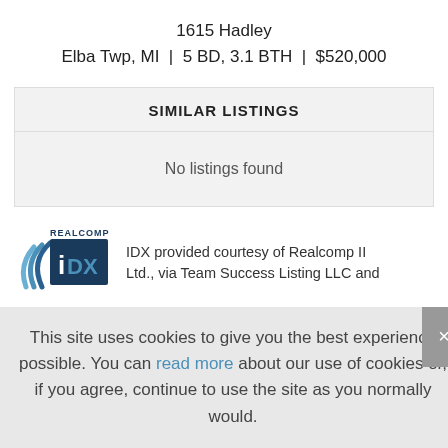1615 Hadley
Elba Twp, MI | 5 BD, 3.1 BTH | $520,000
SIMILAR LISTINGS
No listings found
[Figure (logo): Realcomp IDX logo — blue wave arc with IDX text]
IDX provided courtesy of Realcomp II Ltd., via Team Success Listing LLC and
This site uses cookies to give you the best experience possible. You can read more about our use of cookies or, if you agree, continue to use the site as you normally would.